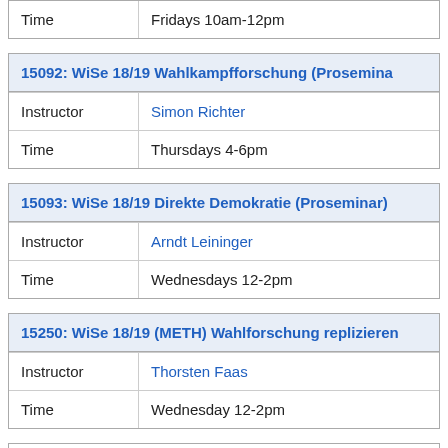|  |  |
| --- | --- |
| Time | Fridays 10am-12pm |
| 15092: WiSe 18/19 Wahlkampfforschung (Proseminar) |  |
| --- | --- |
| Instructor | Simon Richter |
| Time | Thursdays 4-6pm |
| 15093: WiSe 18/19 Direkte Demokratie (Proseminar) |  |
| --- | --- |
| Instructor | Arndt Leininger |
| Time | Wednesdays 12-2pm |
| 15250: WiSe 18/19 (METH) Wahlforschung replizieren |  |
| --- | --- |
| Instructor | Thorsten Faas |
| Time | Wednesday 12-2pm |